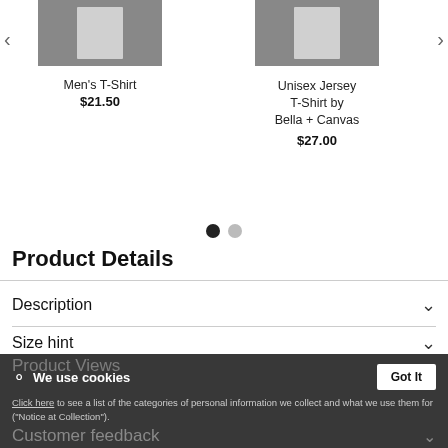[Figure (screenshot): E-commerce product carousel showing two t-shirts with navigation arrows and pagination dots]
Men's T-Shirt $21.50
Unisex Jersey T-Shirt by Bella + Canvas $27.00
Product Details
Description
Size hint
We use cookies
Click here to see a list of the categories of personal information we collect and what we use them for ("Notice at Collection").
Product Views
Customer feedback
Privacy Policy
Do Not Sell My Personal Information
By using this website, I agree to the Terms and Conditions
The French Connection